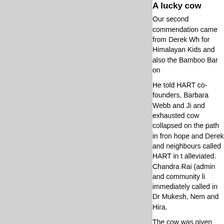A lucky cow
Our second commendation came from Derek Wh... for Himalayan Kids and also the Bamboo Bar on...
He told HART co-founders, Barbara Webb and Ji... and exhausted cow collapsed on the path in fron... hope and Derek and neighbours called HART in t... alleviated. Chandra Rai (admin and community li... immediately called in Dr Mukesh, Nem and Hira.
The cow was given fluid intravenously over three... days and as it seemed to gain strength the local people brought food and water and helped nurse back to health.
One morning Derek arrived to find the cow had le... and it is now seen regularly roaming the streets apparently enjoying its new lease of life.
Back to top
Manang with the Himalayan Mutt Proje...
In colla... we ca...
[Figure (photo): Landscape photo strip, likely mountains or snowy terrain]